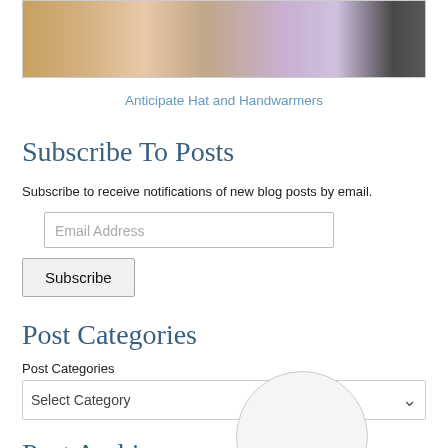[Figure (photo): Partial photo of a person wearing colorful knit hat and handwarmers with a brown leather belt/bag visible]
Anticipate Hat and Handwarmers
Subscribe To Posts
Subscribe to receive notifications of new blog posts by email.
Post Categories
Post Categories
Post Archives
Post Archives